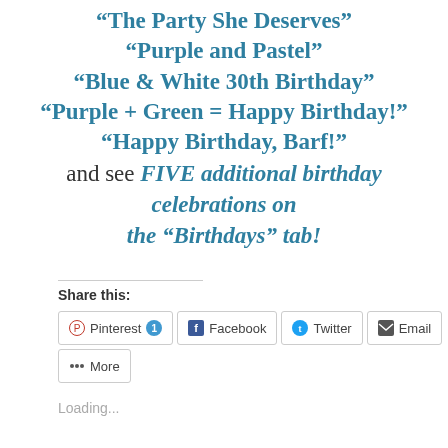"The Party She Deserves"
"Purple and Pastel"
"Blue & White 30th Birthday"
"Purple + Green = Happy Birthday!"
"Happy Birthday, Barf!"
and see FIVE additional birthday celebrations on the “Birthdays” tab!
Share this:
Pinterest 1  Facebook  Twitter  Email  More
Loading...